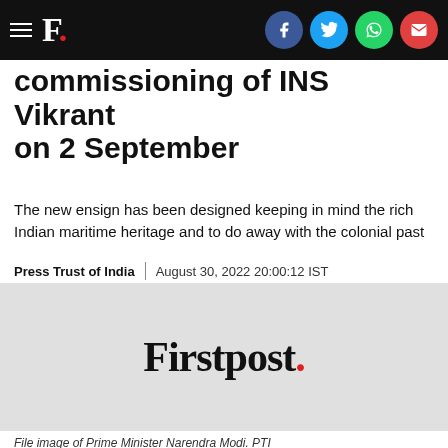F. [Firstpost logo with social share icons: Facebook, Twitter, WhatsApp, Email]
commissioning of INS Vikrant on 2 September
The new ensign has been designed keeping in mind the rich Indian maritime heritage and to do away with the colonial past
Press Trust of India | August 30, 2022 20:00:12 IST
[Figure (logo): Firstpost logo displayed on a light grey background — black serif wordmark 'Firstpost.' with a red period.]
File image of Prime Minister Narendra Modi. PTI